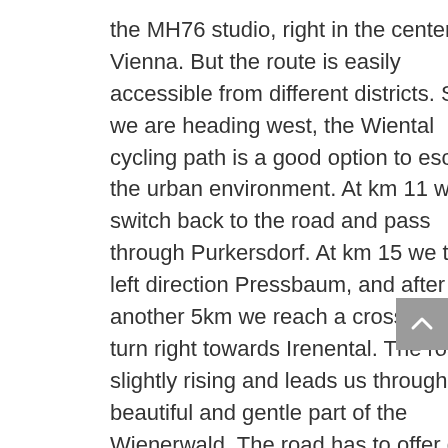the MH76 studio, right in the center off Vienna. But the route is easily accessible from different districts. Since we are heading west, the Wiental cycling path is a good option to escape the urban environment. At km 11 we switch back to the road and pass through Purkersdorf. At km 15 we turn left direction Pressbaum, and after another 5km we reach a crossing and turn right towards Irenental. The road is slightly rising and leads us through a beautiful and gentle part of the Wienerwald. The road has to offer great views, pure nature and hardly any cars. The gradient stays below the 5% mark, and finally we start a fast decent towards Sieghartskirchen. There we turn right on the B1, direction Vienna. After some smooth ups and downs the longest climb of the day starts. Five long switchbacks lead the way up to Riederberg. At the top you get a great view of the hilly landscape. After